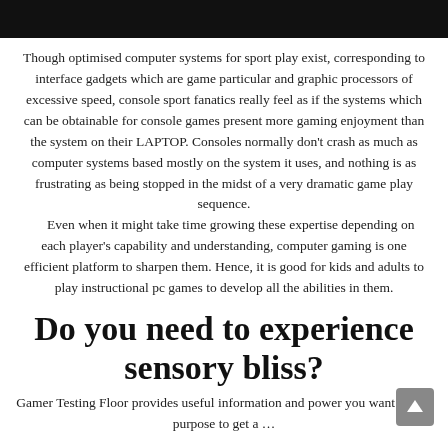[Figure (other): Black header bar at top of page]
Though optimised computer systems for sport play exist, corresponding to interface gadgets which are game particular and graphic processors of excessive speed, console sport fanatics really feel as if the systems which can be obtainable for console games present more gaming enjoyment than the system on their LAPTOP. Consoles normally don't crash as much as computer systems based mostly on the system it uses, and nothing is as frustrating as being stopped in the midst of a very dramatic game play sequence. Even when it might take time growing these expertise depending on each player's capability and understanding, computer gaming is one efficient platform to sharpen them. Hence, it is good for kids and adults to play instructional pc games to develop all the abilities in them.
Do you need to experience sensory bliss?
Gamer Testing Floor provides useful information and power you want with a purpose to get a ...